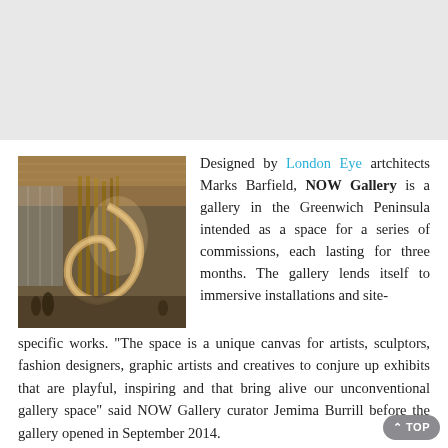[Figure (photo): Interior architectural photo of NOW Gallery showing a grand spiral staircase with wooden slat detailing, high ceilings, and people in the background]
Designed by London Eye artchitects Marks Barfield, NOW Gallery is a gallery in the Greenwich Peninsula intended as a space for a series of commissions, each lasting for three months. The gallery lends itself to immersive installations and site-specific works. "The space is a unique canvas for artists, sculptors, fashion designers, graphic artists and creatives to conjure up exhibits that are playful, inspiring and that bring alive our unconventional gallery space" said NOW Gallery curator Jemima Burrill before the gallery opened in September 2014.